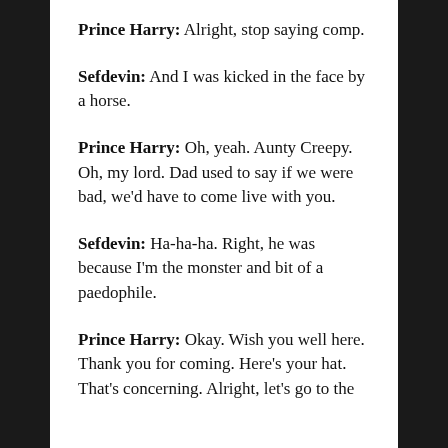Prince Harry: Alright, stop saying comp.
Sefdevin: And I was kicked in the face by a horse.
Prince Harry: Oh, yeah. Aunty Creepy. Oh, my lord. Dad used to say if we were bad, we'd have to come live with you.
Sefdevin: Ha-ha-ha. Right, he was because I'm the monster and bit of a paedophile.
Prince Harry: Okay. Wish you well here. Thank you for coming. Here's your hat. That's concerning. Alright, let's go to the